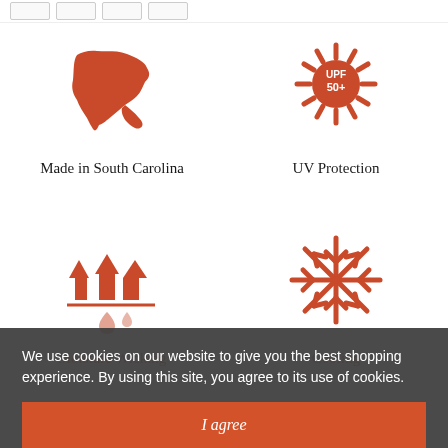[Figure (illustration): Four product feature icons in a 2x2 grid: South Carolina state silhouette (Made in South Carolina), sun with UPF 50+ text (UV Protection), moisture wicking arrows icon (Moisture Wicking), snowflake icon (Cooling)]
Made in South Carolina
UV Protection
Moisture Wicking
Cooling
We use cookies on our website to give you the best shopping experience. By using this site, you agree to its use of cookies.
I agree